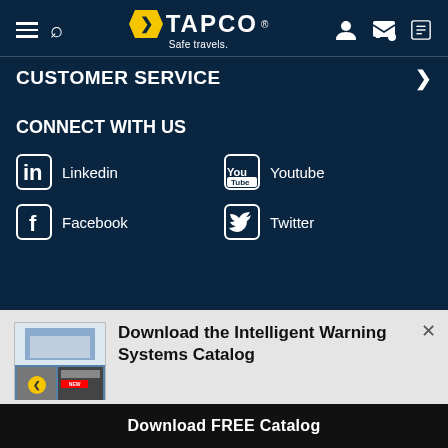TAPCO — Safe travels.
CUSTOMER SERVICE
CONNECT WITH US
Linkedin
Youtube
Facebook
Twitter
Download the Intelligent Warning Systems Catalog
Detailed descriptions and breakdowns of our LED-Enhanced IWS Systems.
Download FREE Catalog